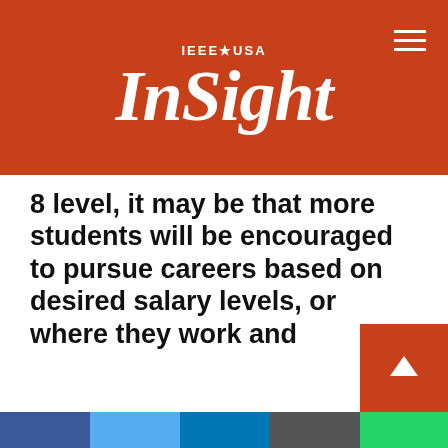IEEE USA InSight
8 level, it may be that more students will be encouraged to pursue careers based on desired salary levels, or where they work and
IEEE websites place cookies on your device to give you the best user experience. By using our websites, you agree to the placement of these cookies. To learn more, read our Privacy Policy.
Accept & Close